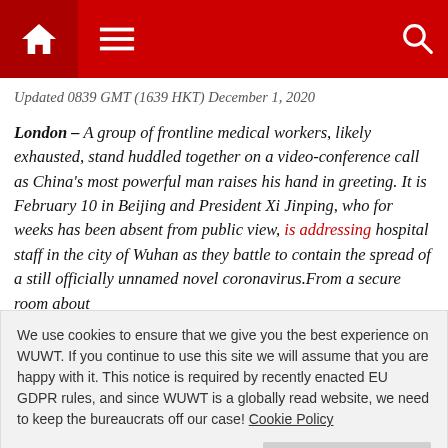Home | Menu | Search
Updated 0839 GMT (1639 HKT) December 1, 2020
London – A group of frontline medical workers, likely exhausted, stand huddled together on a video-conference call as China's most powerful man raises his hand in greeting. It is February 10 in Beijing and President Xi Jinping, who for weeks has been absent from public view, is addressing hospital staff in the city of Wuhan as they battle to contain the spread of a still officially unnamed novel coronavirus.From a secure room about
We use cookies to ensure that we give you the best experience on WUWT. If you continue to use this site we will assume that you are happy with it. This notice is required by recently enacted EU GDPR rules, and since WUWT is a globally read website, we need to keep the bureaucrats off our case! Cookie Policy
the total global number to more than 40,000, with fewer